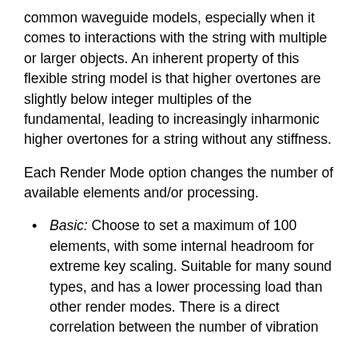common waveguide models, especially when it comes to interactions with the string with multiple or larger objects. An inherent property of this flexible string model is that higher overtones are slightly below integer multiples of the fundamental, leading to increasingly inharmonic higher overtones for a string without any stiffness.
Each Render Mode option changes the number of available elements and/or processing.
Basic: Choose to set a maximum of 100 elements, with some internal headroom for extreme key scaling. Suitable for many sound types, and has a lower processing load than other render modes. There is a direct correlation between the number of vibration